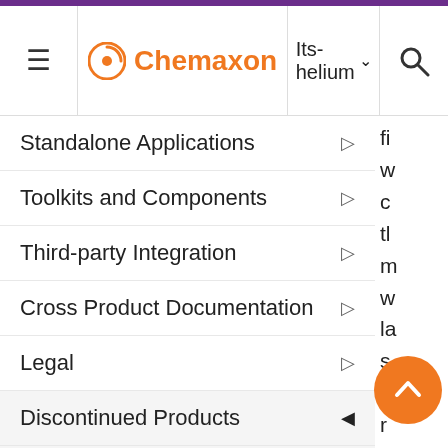Chemaxon | Its-helium
Standalone Applications
Toolkits and Components
Third-party Integration
Cross Product Documentation
Legal
Discontinued Products
Document to Database
Fragmenter
JChem Neo4j Cartridge
fi w c tl m w la s c r v a tl s